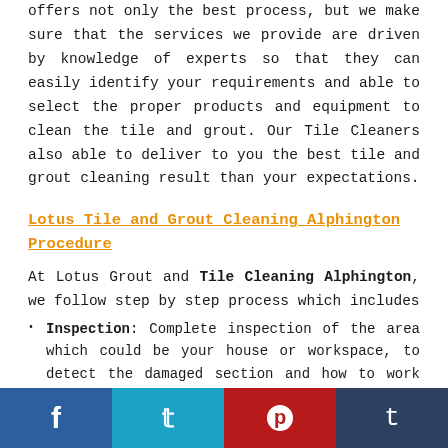offers not only the best process, but we make sure that the services we provide are driven by knowledge of experts so that they can easily identify your requirements and able to select the proper products and equipment to clean the tile and grout. Our Tile Cleaners also able to deliver to you the best tile and grout cleaning result than your expectations.
Lotus Tile and Grout Cleaning Alphington Procedure
At Lotus Grout and Tile Cleaning Alphington, we follow step by step process which includes
Inspection: Complete inspection of the area which could be your house or workspace, to detect the damaged section and how to work on it effectively.
Move Furniture: For the most thorough tile floor